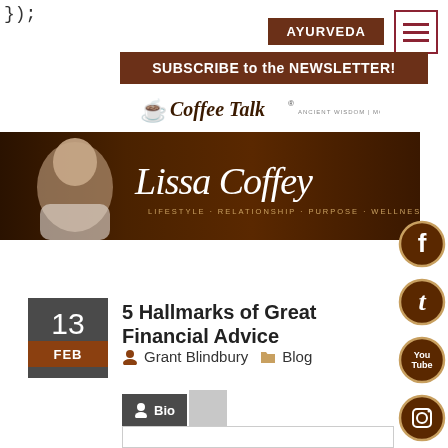});
[Figure (screenshot): Hamburger menu button with three horizontal lines in dark red/maroon color, bordered box]
AYURVEDA
SUBSCRIBE to the NEWSLETTER!
[Figure (logo): Coffee Talk logo with cup icon and tagline 'Ancient Wisdom | Modern Style']
[Figure (photo): Banner with photo of Lissa Coffey, dark brown background, script text 'Lissa Coffey', subtitle 'Lifestyle · Relationship · Purpose · Wellness']
[Figure (infographic): Social media icons on the right side: Facebook, Twitter, YouTube, Instagram, Amazon, and one more - all circular dark brown with beige border]
13 FEB
5 Hallmarks of Great Financial Advice
Grant Blindbury   Blog
[Figure (screenshot): Bio tab section with person icon, 'Bio' text in dark box, and grey tab next to it, with white content box below]